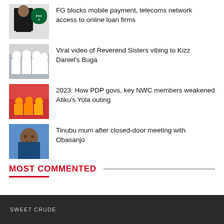FG blocks mobile payment, telecoms network access to online loan firms
Viral video of Reverend Sisters vibing to Kizz Daniel's Buga
2023: How PDP govs, key NWC members weakened Atiku's Yola outing
Tinubu mum after closed-door meeting with Obasanjo
MOST COMMENTED
SWEET CRUDE